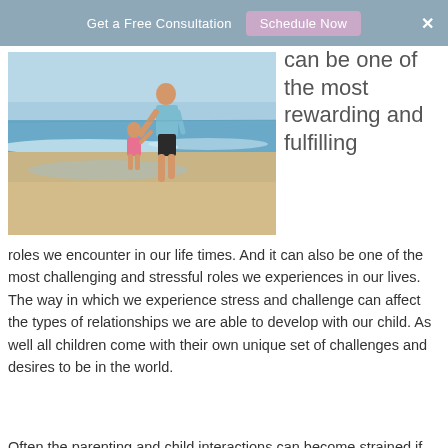Get a Free Consultation  Schedule Now  ×
[Figure (photo): Adult and small child walking on a sandy beach at the water's edge, holding hands, viewed from behind. The adult wears a light blue shirt and dark shorts; the child wears a pink outfit. Ocean waves and blue sky in background.]
can be one of the most rewarding and fulfilling roles we encounter in our life times. And it can also be one of the most challenging and stressful roles we experiences in our lives. The way in which we experience stress and challenge can affect the types of relationships we are able to develop with our child. As well all children come with their own unique set of challenges and desires to be in the world.
Often the parenting and child interactions can become strained if the capacity of the parents skills